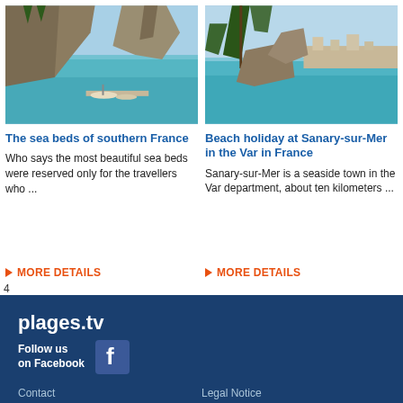[Figure (photo): Coastal rocky cove with small harbor and boats, turquoise water, cliffs in southern France]
[Figure (photo): Seaside view through pine trees with turquoise water and coastal town of Sanary-sur-Mer]
The sea beds of southern France
Who says the most beautiful sea beds were reserved only for the travellers who ...
MORE DETAILS
Beach holiday at Sanary-sur-Mer in the Var in France
Sanary-sur-Mer is a seaside town in the Var department, about ten kilometers ...
MORE DETAILS
4
plages.tv
Follow us on Facebook
Contact
Legal Notice